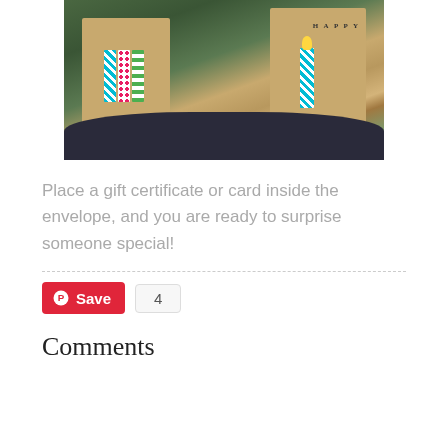[Figure (photo): Photo of two kraft paper envelopes decorated with colorful washi tape candle designs and a 'HAPPY' banner, placed in a nest-like setting with greenery]
Place a gift certificate or card inside the envelope, and you are ready to surprise someone special!
Save 4
Comments